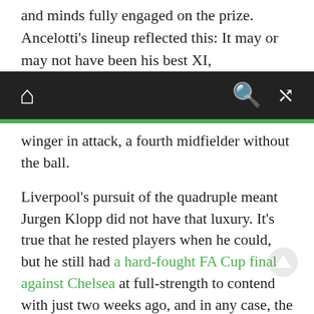and minds fully engaged on the prize. Ancelotti's lineup reflected this: It may or may not have been his best XI,
[navigation bar with home, search, and shuffle icons]
winger in attack, a fourth midfielder without the ball.

Liverpool's pursuit of the quadruple meant Jurgen Klopp did not have that luxury. It's true that he rested players when he could, but he still had a hard-fought FA Cup final against Chelsea at full-strength to contend with just two weeks ago, and in any case, the mental drain of being within a point of eventual Premier League champions City can't be underestimated. He was also able to call upon, on paper, his first-choice XI, but the vibe was different. From Virgil van Dijk to Mohamed Salah to Fabinho to Thiago Alcantara, it felt like veterans wearily returning to the front after a day of quiet — not quite 100%, but hungry to gut it out.

With kickoff delayed nearly 40 minutes by the security